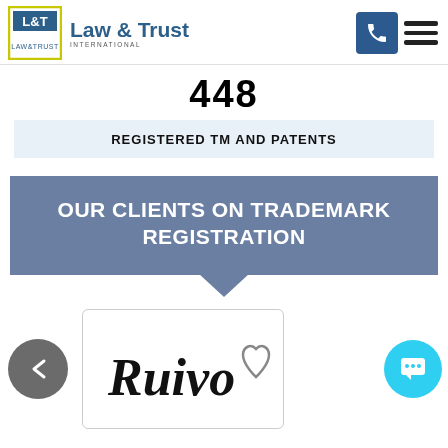[Figure (logo): Law & Trust International logo with L&T initials in yellow-bordered box and company name in blue]
448
REGISTERED TM AND PATENTS
OUR CLIENTS ON TRADEMARK REGISTRATION
[Figure (logo): Ruivo brand trademark logo in stylized script with heart symbol, shown in a bordered card]